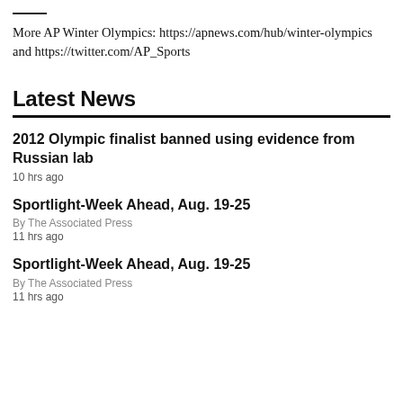More AP Winter Olympics: https://apnews.com/hub/winter-olympics and https://twitter.com/AP_Sports
Latest News
2012 Olympic finalist banned using evidence from Russian lab
10 hrs ago
Sportlight-Week Ahead, Aug. 19-25
By The Associated Press
11 hrs ago
Sportlight-Week Ahead, Aug. 19-25
By The Associated Press
11 hrs ago